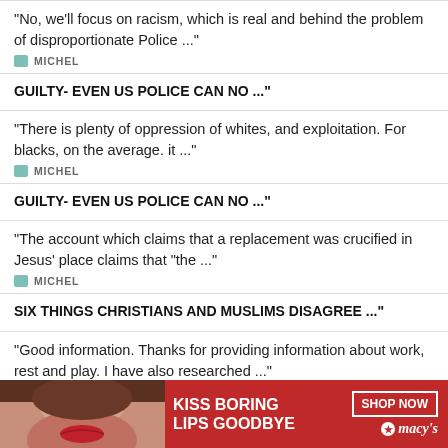"No, we'll focus on racism, which is real and behind the problem of disproportionate Police ..."
MICHEL
GUILTY- EVEN US POLICE CAN NO ..."
"There is plenty of oppression of whites, and exploitation. For blacks, on the average. it ..."
MICHEL
GUILTY- EVEN US POLICE CAN NO ..."
"The account which claims that a replacement was crucified in Jesus' place claims that "the ..."
MICHEL
SIX THINGS CHRISTIANS AND MUSLIMS DISAGREE ..."
"Good information. Thanks for providing information about work, rest and play. I have also researched ..."
WHALEMEDIABOOST
N – WORK, REST, AND PLAY: ..."
[Figure (photo): Advertisement banner: woman's face with red lips, text KISS BORING LIPS GOODBYE, SHOP NOW button, macy's logo on red background]